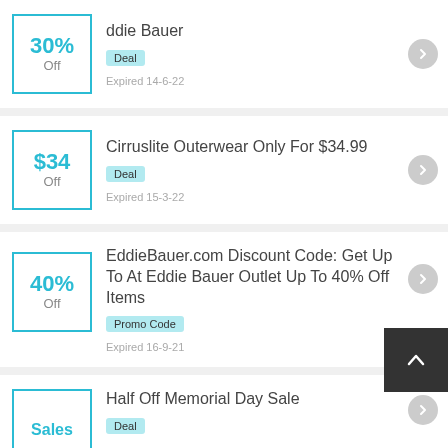30% Off — ddie Bauer — Deal — Expired 14-6-22
Cirruslite Outerwear Only For $34.99 — $34 Off — Deal — Expired 15-3-22
EddieBauer.com Discount Code: Get Up To At Eddie Bauer Outlet Up To 40% Off Items — 40% Off — Promo Code — Expired 16-9-21
Half Off Memorial Day Sale — Sales — Deal